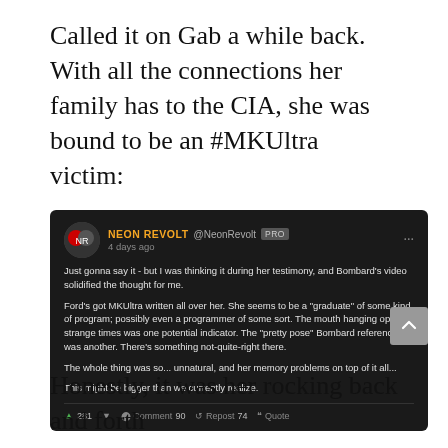Called it on Gab a while back. With all the connections her family has to the CIA, she was bound to be an #MKUltra victim:
[Figure (screenshot): Screenshot of a Gab social media post by NEON REVOLT (@NeonRevolt), PRO account, posted 4 days ago. Post text: 'Just gonna say it - but I was thinking it during her testimony, and Bombard's video solidified the thought for me. Ford's got MKUltra written all over her. She seems to be a "graduate" of some kind of program; possibly even a programmer of some sort. The mouth hanging open at strange times was one potential indicator. The "pretty pose" Bombard references was another. There's something not-quite-right there. The whole thing was so... unnatural, and her memory problems on top of it all... This might be bigger than we currently realize.' Reactions: 281 upvotes, Comment 90, Repost 74, Quote.]
Honestly, it was her rocking back and forth